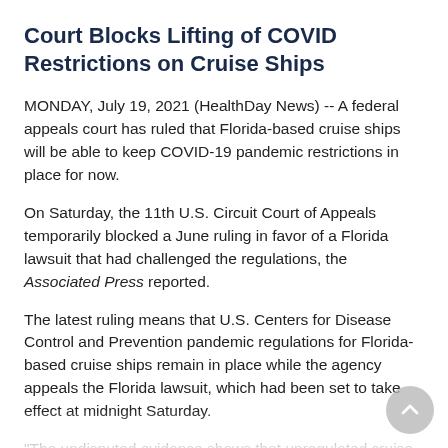Court Blocks Lifting of COVID Restrictions on Cruise Ships
MONDAY, July 19, 2021 (HealthDay News) -- A federal appeals court has ruled that Florida-based cruise ships will be able to keep COVID-19 pandemic restrictions in place for now.
On Saturday, the 11th U.S. Circuit Court of Appeals temporarily blocked a June ruling in favor of a Florida lawsuit that had challenged the regulations, the Associated Press reported.
The latest ruling means that U.S. Centers for Disease Control and Prevention pandemic regulations for Florida-based cruise ships remain in place while the agency appeals the Florida lawsuit, which had been set to take effect at midnight Saturday.
"The undisputed evidence shows that unregulated cruise ship operations would exacerbate the spread of COVID-19, and that the harm to the public that would result from such operations cannot be undone," the CDC said in a court filing, the AP reported.